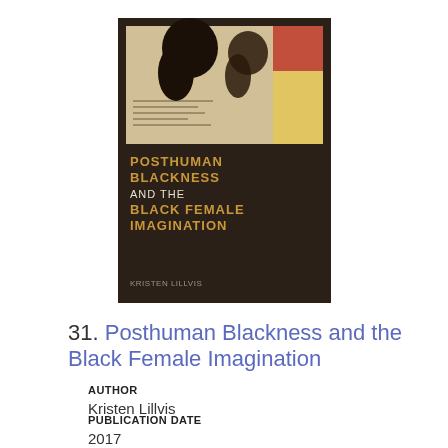[Figure (illustration): Book cover of 'Posthuman Blackness and the Black Female Imagination' by Kristen Lillvis. Dark brown background with photographic collage at top showing silhouettes of two women with afros. Title text in gold/white lettering. Author name at bottom in small text.]
31. Posthuman Blackness and the Black Female Imagination
AUTHOR
Kristen Lillvis
PUBLICATION DATE
2017